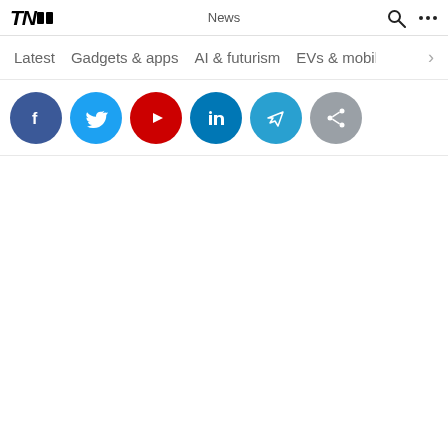TNW News
Latest  Gadgets & apps  AI & futurism  EVs & mobili >
[Figure (screenshot): Row of six circular social media share buttons: Facebook (dark blue), Twitter (light blue), Pinterest/YouTube (red), LinkedIn (dark blue), Telegram (teal), and a grey share button]